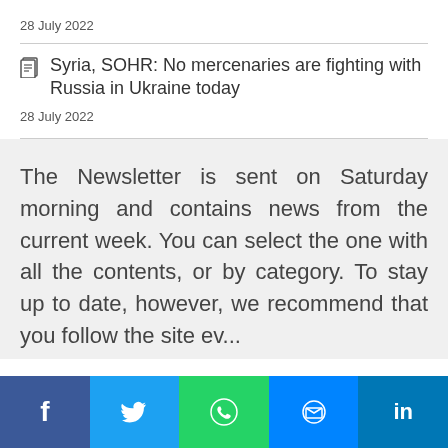28 July 2022
Syria, SOHR: No mercenaries are fighting with Russia in Ukraine today
28 July 2022
The Newsletter is sent on Saturday morning and contains news from the current week. You can select the one with all the contents, or by category. To stay up to date, however, we recommend that you follow the site ev...